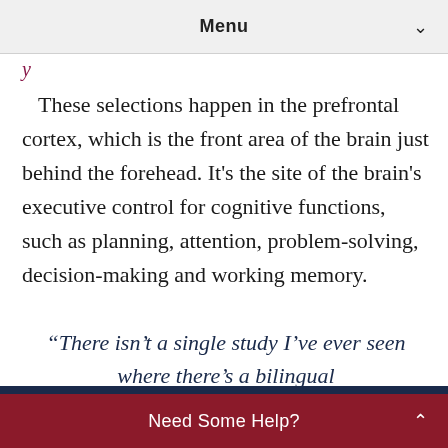Menu
These selections happen in the prefrontal cortex, which is the front area of the brain just behind the forehead. It’s the site of the brain’s executive control for cognitive functions, such as planning, attention, problem-solving, decision-making and working memory.
“There isn’t a single study I’ve ever seen where there’s a bilingual
Need Some Help?